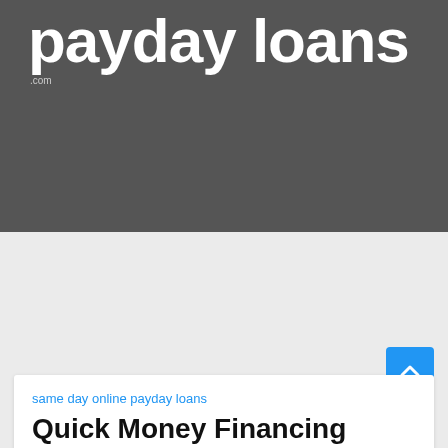payday loans
.com
[Figure (screenshot): Dark gray background section with map/screenshot below]
same day online payday loans
Quick Money Financing Santa